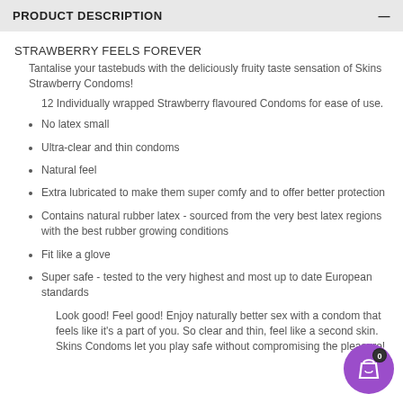PRODUCT DESCRIPTION
STRAWBERRY FEELS FOREVER
Tantalise your tastebuds with the deliciously fruity taste sensation of Skins Strawberry Condoms!
12 Individually wrapped Strawberry flavoured Condoms for ease of use.
No latex small
Ultra-clear and thin condoms
Natural feel
Extra lubricated to make them super comfy and to offer better protection
Contains natural rubber latex - sourced from the very best latex regions with the best rubber growing conditions
Fit like a glove
Super safe - tested to the very highest and most up to date European standards
Look good! Feel good! Enjoy naturally better sex with a condom that feels like it's a part of you. So clear and thin, feel like a second skin. Skins Condoms let you play safe without compromising the pleasure!